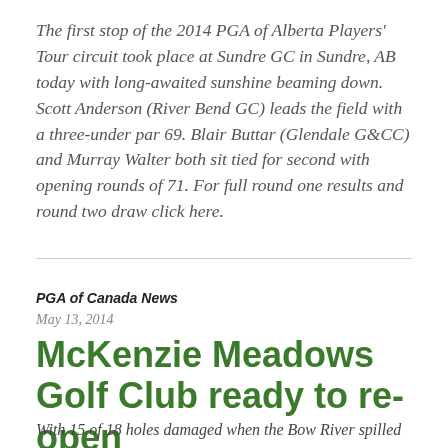The first stop of the 2014 PGA of Alberta Players' Tour circuit took place at Sundre GC in Sundre, AB today with long-awaited sunshine beaming down. Scott Anderson (River Bend GC) leads the field with a three-under par 69. Blair Buttar (Glendale G&CC) and Murray Walter both sit tied for second with opening rounds of 71. For full round one results and round two draw click here.
PGA of Canada News
May 13, 2014
McKenzie Meadows Golf Club ready to re-open
With 15 of 18 holes damaged when the Bow River spilled